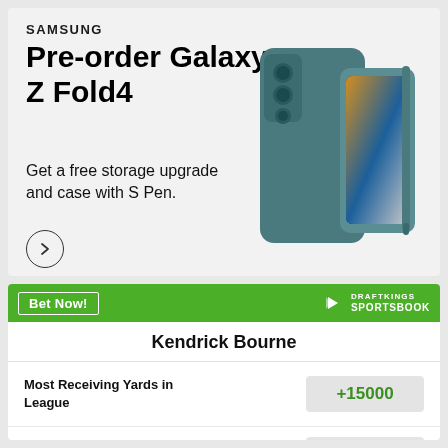[Figure (illustration): Samsung advertisement for Galaxy Z Fold4 smartphone pre-order. Shows SAMSUNG logo, heading 'Pre-order Galaxy Z Fold4', subtext 'Get a free storage upgrade and case with S Pen.' with a circle arrow button. Image of the folded phone with S Pen on the right side.]
[Figure (logo): DraftKings Sportsbook green header bar with 'Bet Now!' button on left and DraftKings Sportsbook logo on right.]
Kendrick Bourne
| Bet Type | Odds |
| --- | --- |
| Most Receiving Yards in League | +15000 |
| Most Receptions in League | +15000 |